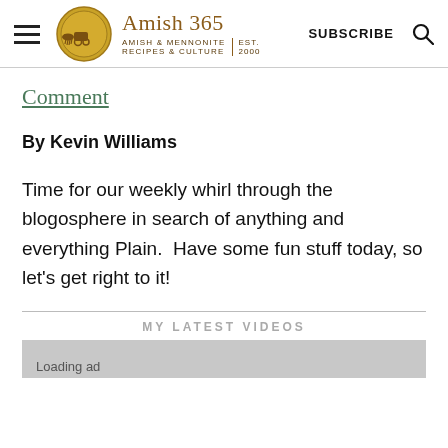[Figure (logo): Amish 365 website header with hamburger menu, circular gold logo with Amish buggy illustration, site title 'Amish 365', subtitle 'Amish & Mennonite Recipes & Culture | Est. 2000', Subscribe button, and search icon]
Comment
By Kevin Williams
Time for our weekly whirl through the blogosphere in search of anything and everything Plain.  Have some fun stuff today, so let's get right to it!
MY LATEST VIDEOS
Loading ad